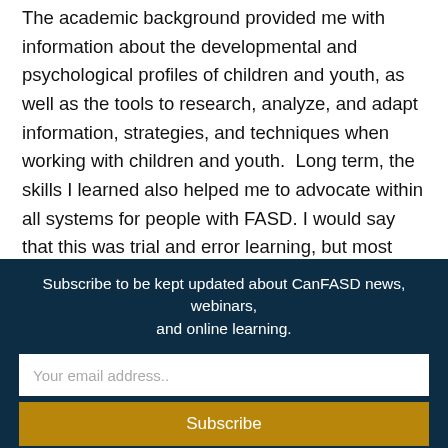The academic background provided me with information about the developmental and psychological profiles of children and youth, as well as the tools to research, analyze, and adapt information, strategies, and techniques when working with children and youth.  Long term, the skills I learned also helped me to advocate within all systems for people with FASD. I would say that this was trial and error learning, but most systems are.  With the uniqueness of each of our children, trial, error and adaptations was the process within all learning and systems.
Subscribe to be kept updated about CanFASD news, webinars, and online learning.